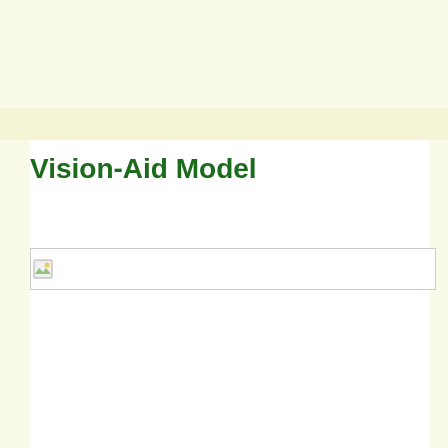Vision-Aid Model
[Figure (other): Broken image placeholder — a missing/unloaded image with a small broken image icon in the top-left corner and a border around the image region]